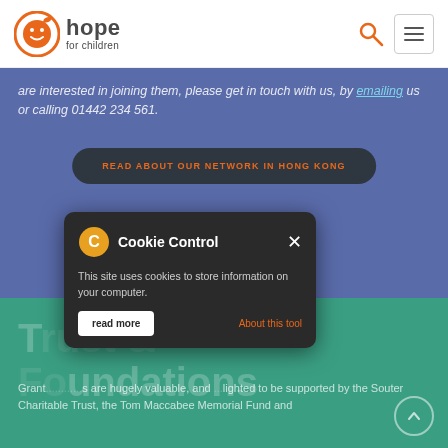hope for children — navigation header with logo, search icon, and hamburger menu
are interested in joining them, please get in touch with us, by emailing us or calling 01442 234 561.
READ ABOUT OUR NETWORK IN HONG KONG
T...ndations
Grants ... are hugely valuable, and ... lighted to be supported by the Souter Charitable Trust, the Tom Maccabee Memorial Fund and
[Figure (screenshot): Cookie Control popup dialog with gear icon, close button, body text 'This site uses cookies to store information on your computer.', 'About this tool' link, and 'read more' button]